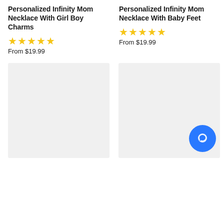Personalized Infinity Mom Necklace With Girl Boy Charms
★★★★★
From $19.99
Personalized Infinity Mom Necklace With Baby Feet
★★★★★
From $19.99
[Figure (photo): Product image placeholder (light gray box)]
[Figure (photo): Product image placeholder (light gray box) with blue chat bubble icon in bottom right corner]